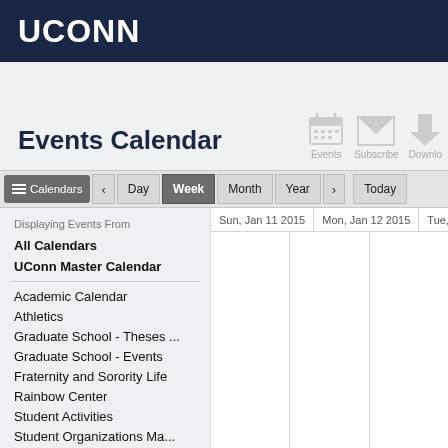UCONN
Events Calendar
Events  Subscribe  Download
Calendars  <  Day  Week  Month  Year  >  Today
Displaying Events From
All Calendars
UConn Master Calendar
Academic Calendar
Athletics
Graduate School - Theses ...
Graduate School - Events
Fraternity and Sorority Life
Rainbow Center
Student Activities
Student Organizations Ma...
SUBOG - Student Union B...
| Sun, Jan 11 2015 | Mon, Jan 12 2015 | Tue, J... |
| --- | --- | --- |
|  |  |  |